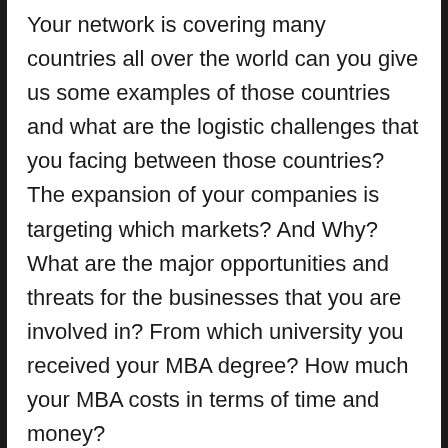Your network is covering many countries all over the world can you give us some examples of those countries and what are the logistic challenges that you facing between those countries? The expansion of your companies is targeting which markets? And Why? What are the major opportunities and threats for the businesses that you are involved in? From which university you received your MBA degree? How much your MBA costs in terms of time and money?